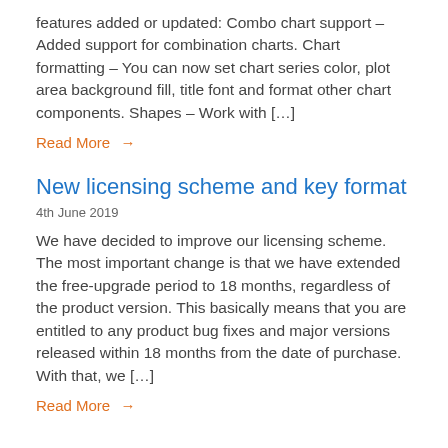features added or updated: Combo chart support – Added support for combination charts. Chart formatting – You can now set chart series color, plot area background fill, title font and format other chart components. Shapes – Work with […]
Read More →
New licensing scheme and key format
4th June 2019
We have decided to improve our licensing scheme. The most important change is that we have extended the free-upgrade period to 18 months, regardless of the product version. This basically means that you are entitled to any product bug fixes and major versions released within 18 months from the date of purchase. With that, we […]
Read More →